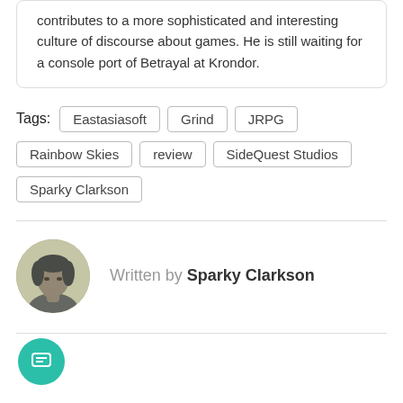contributes to a more sophisticated and interesting culture of discourse about games. He is still waiting for a console port of Betrayal at Krondor.
Tags: Eastasiasoft  Grind  JRPG  Rainbow Skies  review  SideQuest Studios  Sparky Clarkson
Written by Sparky Clarkson
[Figure (photo): Circular avatar photo of Sparky Clarkson, a greyscale/tinted photo of a man with dark hair resting his chin on his hand]